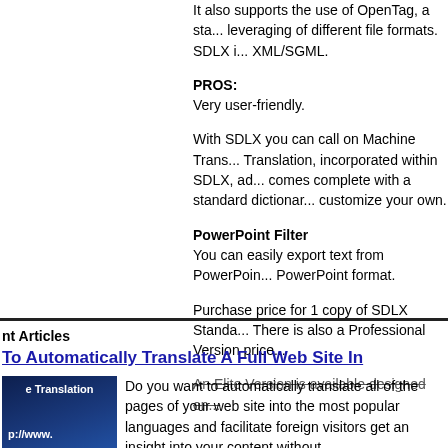It also supports the use of OpenTag, a sta... leveraging of different file formats. SDLX i... XML/SGML.
PROS:
Very user-friendly.
With SDLX you can call on Machine Trans... Translation, incorporated within SDLX, ad... comes complete with a standard dictionar... customize your own.
PowerPoint Filter
You can easily export text from PowerPoin... PowerPoint format.
Purchase price for 1 copy of SDLX Standa... There is also a Professional Version price...
An Elite Version is available designed on...
nt Articles
To Automatically Translate A Full Web Site In
[Figure (photo): Image showing a website translation concept with a globe and URL bar]
Do you want to automatically translate all of the pages of your web site into the most popular languages and facilitate foreign visitors get an insight into your content without
Read more...